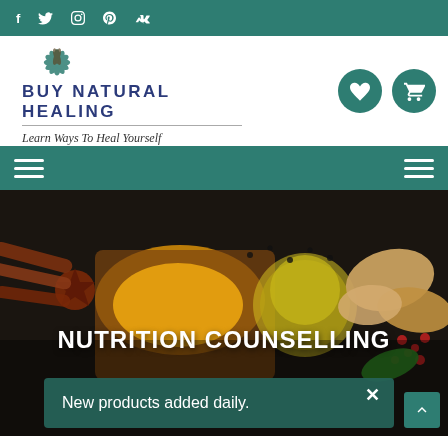f  Twitter  Instagram  Pinterest  VK
[Figure (logo): Buy Natural Healing logo with decorative leaf/plant emblem above the brand name]
BUY NATURAL HEALING
Learn Ways To Heal Yourself
[Figure (screenshot): Navigation bar with hamburger menu icons on left and right on teal background]
[Figure (photo): Hero image of various spices and natural healing ingredients including turmeric, star anise, cinnamon, ginger, peppercorns, and oil on dark background]
NUTRITION COUNSELLING
New products added daily.